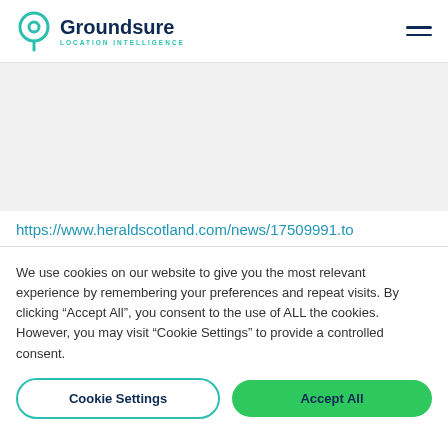Groundsure LOCATION INTELLIGENCE
https://www.heraldscotland.com/news/17509991.to
We use cookies on our website to give you the most relevant experience by remembering your preferences and repeat visits. By clicking “Accept All”, you consent to the use of ALL the cookies. However, you may visit “Cookie Settings” to provide a controlled consent.
Cookie Settings | Accept All